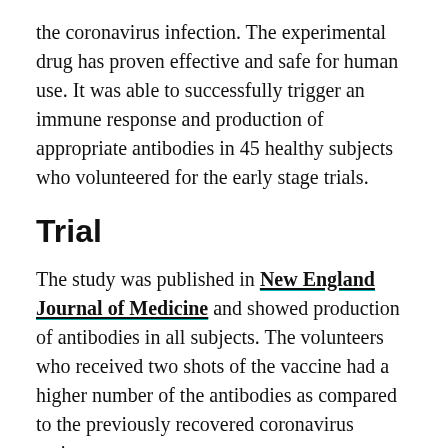the coronavirus infection. The experimental drug has proven effective and safe for human use. It was able to successfully trigger an immune response and production of appropriate antibodies in 45 healthy subjects who volunteered for the early stage trials.
Trial
The study was published in New England Journal of Medicine and showed production of antibodies in all subjects. The volunteers who received two shots of the vaccine had a higher number of the antibodies as compared to the previously recovered coronavirus patients.
There were no major side effects. However, some people reported having mild to moderate symptoms of fatigue, muscle aches, chills, headache and pain in the injection area. These were majorly seen in the subjects who